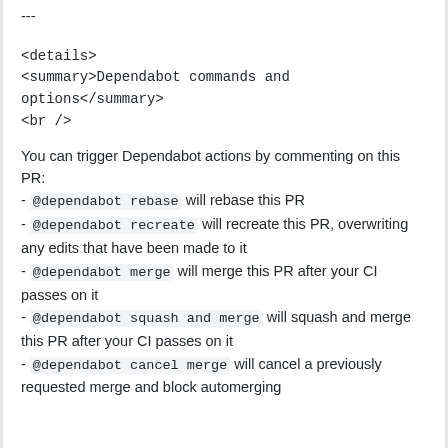---
<details>
<summary>Dependabot commands and options</summary>
<br />
You can trigger Dependabot actions by commenting on this PR:
 - `@dependabot rebase` will rebase this PR
 - `@dependabot recreate` will recreate this PR, overwriting any edits that have been made to it
 - `@dependabot merge` will merge this PR after your CI passes on it
 - `@dependabot squash and merge` will squash and merge this PR after your CI passes on it
 - `@dependabot cancel merge` will cancel a previously requested merge and block automerging